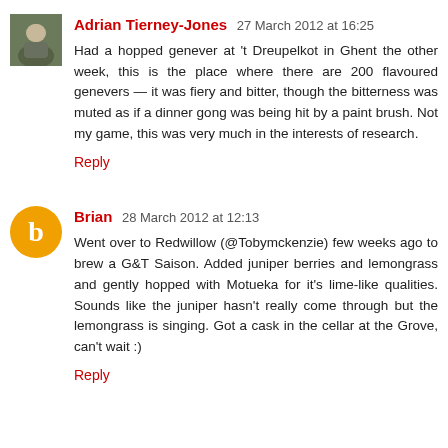[Figure (photo): Avatar photo of Adrian Tierney-Jones, small square portrait]
Adrian Tierney-Jones 27 March 2012 at 16:25
Had a hopped genever at 't Dreupelkot in Ghent the other week, this is the place where there are 200 flavoured genevers — it was fiery and bitter, though the bitterness was muted as if a dinner gong was being hit by a paint brush. Not my game, this was very much in the interests of research.
Reply
[Figure (logo): Blogger orange circle avatar with white B logo for Brian]
Brian 28 March 2012 at 12:13
Went over to Redwillow (@Tobymckenzie) few weeks ago to brew a G&T Saison. Added juniper berries and lemongrass and gently hopped with Motueka for it's lime-like qualities. Sounds like the juniper hasn't really come through but the lemongrass is singing. Got a cask in the cellar at the Grove, can't wait :)
Reply